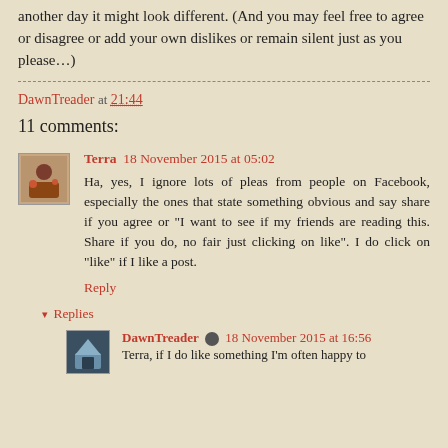another day it might look different. (And you may feel free to agree or disagree or add your own dislikes or remain silent just as you please…)
DawnTreader at 21:44
11 comments:
Terra  18 November 2015 at 05:02
Ha, yes, I ignore lots of pleas from people on Facebook, especially the ones that state something obvious and say share if you agree or "I want to see if my friends are reading this. Share if you do, no fair just clicking on like". I do click on "like" if I like a post.
Reply
▾ Replies
DawnTreader  18 November 2015 at 16:56
Terra, if I do like something I'm often happy to